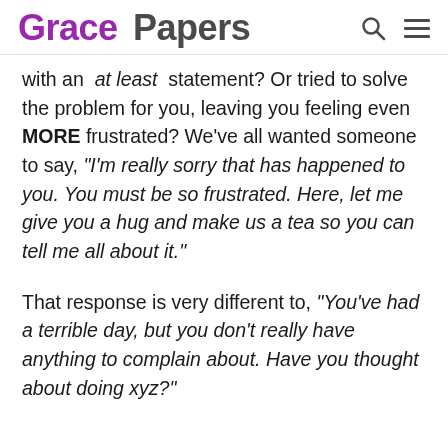Grace Papers
with an 'at least' statement? Or tried to solve the problem for you, leaving you feeling even MORE frustrated? We've all wanted someone to say, "I'm really sorry that has happened to you. You must be so frustrated. Here, let me give you a hug and make us a tea so you can tell me all about it."
That response is very different to, "You've had a terrible day, but you don't really have anything to complain about. Have you thought about doing xyz?"